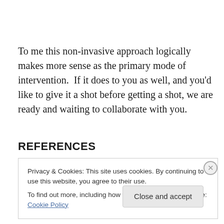To me this non-invasive approach logically makes more sense as the primary mode of intervention.  If it does to you as well, and you'd like to give it a shot before getting a shot, we are ready and waiting to collaborate with you.
REFERENCES
Privacy & Cookies: This site uses cookies. By continuing to use this website, you agree to their use.
To find out more, including how to control cookies, see here: Cookie Policy